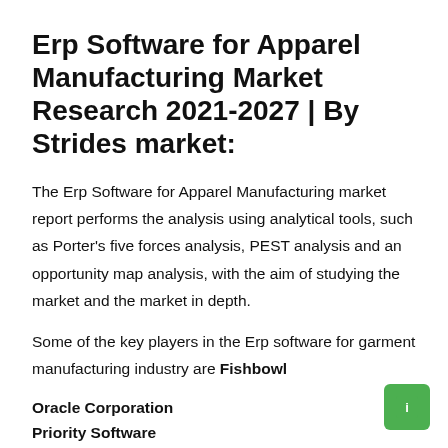Erp Software for Apparel Manufacturing Market Research 2021-2027 | By Strides market:
The Erp Software for Apparel Manufacturing market report performs the analysis using analytical tools, such as Porter's five forces analysis, PEST analysis and an opportunity map analysis, with the aim of studying the market and the market in depth.
Some of the key players in the Erp software for garment manufacturing industry are Fishbowl
Oracle Corporation
Priority Software
Prodsmart